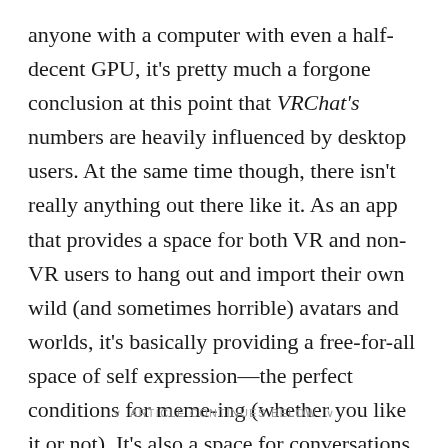anyone with a computer with even a half-decent GPU, it's pretty much a forgone conclusion at this point that VRChat's numbers are heavily influenced by desktop users. At the same time though, there isn't really anything out there like it. As an app that provides a space for both VR and non-VR users to hang out and import their own wild (and sometimes horrible) avatars and worlds, it's basically providing a free-for-all space of self expression—the perfect conditions for meme-ing (whether you like it or not). It's also a space for conversations about VR, and a place to show off motion controls and realistic body language, possibly enticing desktop users to take the VR plunge too.
∨ ARTICLE CONTINUES BELOW ∨